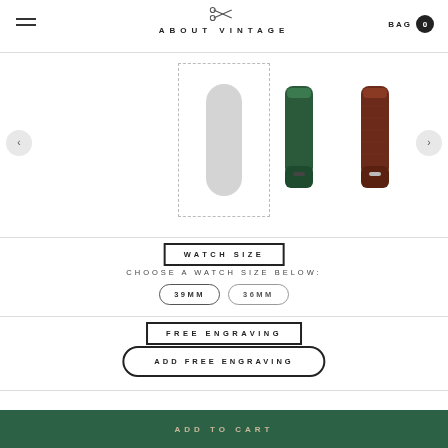ABOUT VINTAGE
[Figure (photo): Watch strap product images: main selected strap in dashed border (white/light grey), green leather strap, brown crocodile leather strap with navigation arrows on sides]
WATCH SIZE
CHOOSE A WATCH SIZE BELOW:
39MM
36MM
FREE ENGRAVING
ADD FREE ENGRAVING
ADD TO CART